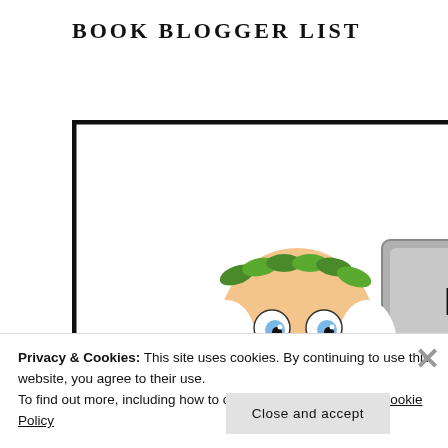BOOK BLOGGER LIST
[Figure (illustration): A cartoon figure of a Greek god/philosopher in white robes holding a stone tablet that reads 'I've been listed', with text below reading 'on the Book Blogger List'. The figure has a white beard and laurel wreath. The image is framed with a black border.]
Privacy & Cookies: This site uses cookies. By continuing to use this website, you agree to their use.
To find out more, including how to control cookies, see here: Cookie Policy
Close and accept